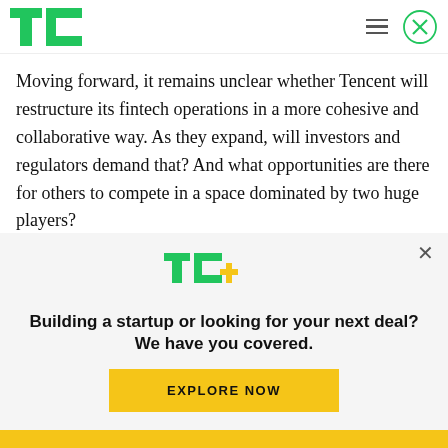TechCrunch logo with hamburger menu and close button
Moving forward, it remains unclear whether Tencent will restructure its fintech operations in a more cohesive and collaborative way. As they expand, will investors and regulators demand that? And what opportunities are there for others to compete in a space dominated by two huge players?
One thing is for sure: Tencent will need to tread
[Figure (logo): TC+ logo in green and yellow]
Building a startup or looking for your next deal? We have you covered.
EXPLORE NOW